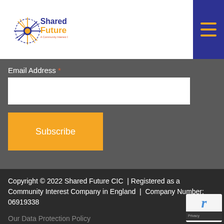Shared Future – A Community Interest Company
Email Address *
Subscribe
Copyright © 2022 Shared Future CIC  | Registered as a Community Interest Company in England  |  Company Number: 06919338
Our Data Protection Policy
Privacy and Cookies Policy
Terms and Conditions